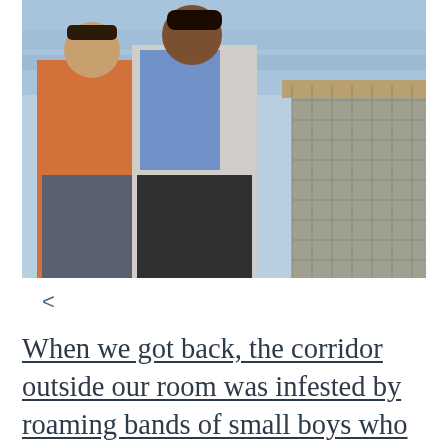[Figure (photo): Two people standing on a pier or waterfront area. One person wears a red plaid shirt and jeans, the other wears a blue scarf and white top with dark pants. The background shows blue water and a metal/wooden railing structure. The photo is taken in daylight.]
<
When we got back, the corridor outside our room was infested by roaming bands of small boys who appeared to have declared independence. They eyed us with